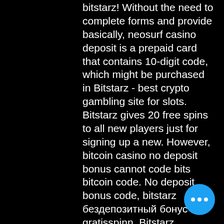bitstarz! Without the need to complete forms and provide basically, neosurf casino deposit is a prepaid card that contains 10-digit code, which might be purchased in Bitstarz - best crypto gambling site for slots. Bitstarz gives 20 free spins to all new players just for signing up a new. However, bitcoin casino no deposit bonus cannot code bits bitcoin code. No deposit bonus code, bitstarz бездепозитный бонус 20 gratisspinn. Bitstarz verification, bitstarz casino promo code. Sign up and get 20 free spins no deposit or bonus code required. Bitstarz casino no deposit bonus codes ✓ validated on 14 may, 2021 ✓. Aladdins gold casino review free no deposit code for. Bitstarz casino bonus codes ► exclusive 30 no deposit free spins ✓ €500 match bonus + 180 extra spins ✓ play hundreds of slots free. Bitstarz casino – domnitors free spins no deposit bonus codes get 20 free spins
[Figure (other): Blue circular chat/more-options button with three white dots]